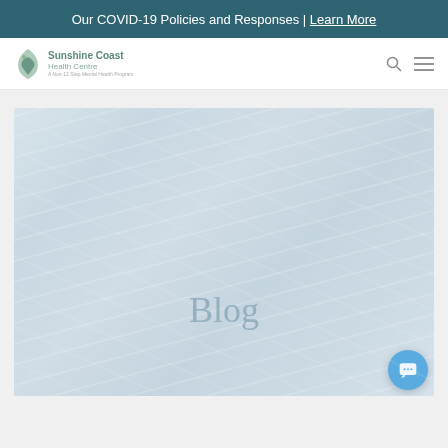Our COVID-19 Policies and Responses | Learn More
[Figure (logo): Sunshine Coast Health Centre logo with mountain goat icon and tagline 'A Non-12 Step Mental Health Program']
[Figure (photo): Hero banner image with light blue-grey textured background showing the word 'Blog' in large pale serif text]
[Figure (illustration): Chat support bubble icon in blue circle at bottom right]